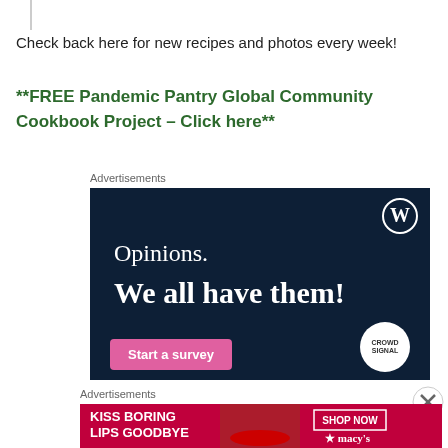Check back here for new recipes and photos every week!
**FREE Pandemic Pantry Global Community Cookbook Project – Click here**
Advertisements
[Figure (screenshot): Dark navy advertisement for WordPress survey tool. Shows WordPress logo (W in circle) top right, text 'Opinions. We all have them!' in white, a pink 'Start a survey' button, and a Crowd Signal logo at bottom right.]
Advertisements
[Figure (screenshot): Macy's advertisement with red background showing a woman's face with red lipstick. Text 'KISS BORING LIPS GOODBYE' on left, 'SHOP NOW' button and Macy's star logo on right.]